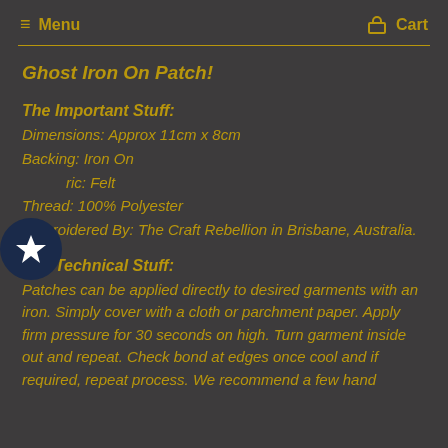Menu   Cart
Ghost Iron On Patch!
The Important Stuff:
Dimensions: Approx 11cm x 8cm
Backing: Iron On
Fabric: Felt
Thread: 100% Polyester
Embroidered By: The Craft Rebellion in Brisbane, Australia.
The Technical Stuff:
Patches can be applied directly to desired garments with an iron. Simply cover with a cloth or parchment paper. Apply firm pressure for 30 seconds on high. Turn garment inside out and repeat. Check bond at edges once cool and if required, repeat process. We recommend a few hand